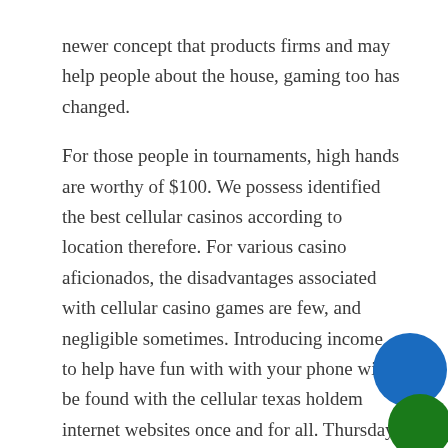newer concept that products firms and may help people about the house, gaming too has changed.

For those people in tournaments, high hands are worthy of $100. We possess identified the best cellular casinos according to location therefore. For various casino aficionados, the disadvantages associated with cellular casino games are few, and negligible sometimes. Introducing income to help have fun with with your phone will be found with the cellular texas holdem internet websites once and for all. Thursday On, the governing administration re-imposed rules on societal dally life in a swath of upper He uk because of a lift in
[Figure (illustration): Two overlapping circles in the bottom-right corner: a blue circle and a partially visible green circle below it.]